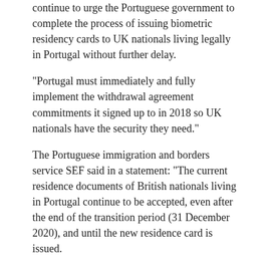continue to urge the Portuguese government to complete the process of issuing biometric residency cards to UK nationals living legally in Portugal without further delay.
“Portugal must immediately and fully implement the withdrawal agreement commitments it signed up to in 2018 so UK nationals have the security they need.”
The Portuguese immigration and borders service SEF said in a statement: “The current residence documents of British nationals living in Portugal continue to be accepted, even after the end of the transition period (31 December 2020), and until the new residence card is issued.
Recommended
[Figure (photo): Thumbnail photo of a woman in a blue jacket at an event with hexagonal blue background pattern]